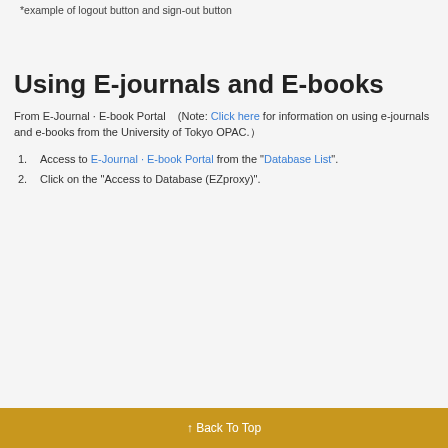*example of logout button and sign-out button
Using E-journals and E-books
From E-Journal · E-book Portal    (Note: Click here for information on using e-journals and e-books from the University of Tokyo OPAC.）
Access to E-Journal · E-book Portal from the "Database List".
Click on the "Access to Database (EZproxy)".
↑ Back To Top